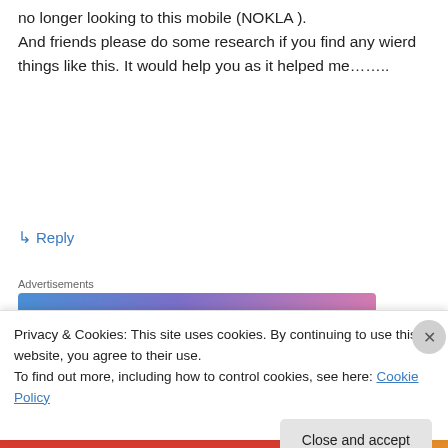no longer looking to this mobile (NOKLA ). And friends please do some research if you find any wierd things like this. It would help you as it helped me……..
↳ Reply
Advertisements
[Figure (other): WordPress.com advertisement banner with gradient background (blue to pink). Text: 'Simplified pricing for everything you need.' with WordPress.com logo.]
mahen on October 3, 2007 at 8:09 pm
Privacy & Cookies: This site uses cookies. By continuing to use this website, you agree to their use.
To find out more, including how to control cookies, see here: Cookie Policy
Close and accept